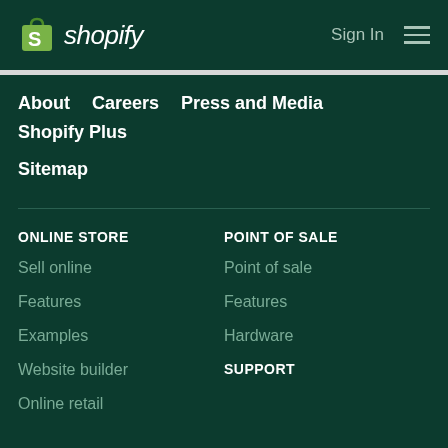Shopify — Sign In
About
Careers
Press and Media
Shopify Plus
Sitemap
ONLINE STORE
Sell online
Features
Examples
Website builder
Online retail
POINT OF SALE
Point of sale
Features
Hardware
SUPPORT